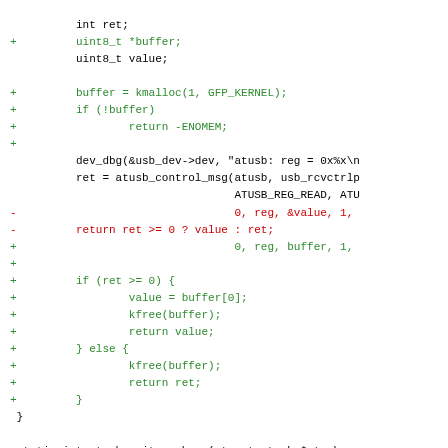Code diff showing changes to atusb driver functions including buffer allocation and atusb_write_subreg/atusb_set_frame_retries